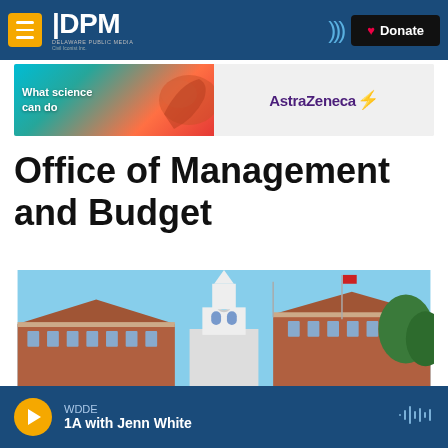DPM Delaware Public Media | Donate
[Figure (screenshot): AstraZeneca advertisement banner: 'What science can do' with colorful hand imagery and AstraZeneca logo]
Office of Management and Budget
[Figure (photo): Delaware State Capitol building with white bell tower/steeple against blue sky, brick buildings visible, green trees on right]
WDDE | 1A with Jenn White